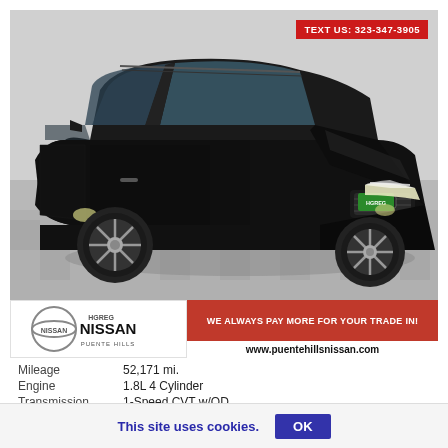[Figure (photo): Black Honda HR-V SUV photographed at a dealership showroom, three-quarter front view. Car is black with sporty alloy wheels. A green HGREG dealer plate is visible. In the top-right corner a red badge reads TEXT US: 323-347-3905.]
[Figure (logo): HGreg Nissan Puente Hills dealership logo — circular Nissan emblem with NISSAN text and HGREG branding above, PUENTE HILLS below.]
WE ALWAYS PAY MORE FOR YOUR TRADE IN!
www.puentehillsnissan.com
Mileage	52,171 mi.
Engine	1.8L 4 Cylinder
Transmission	1-Speed CVT w/OD
This site uses cookies.  OK